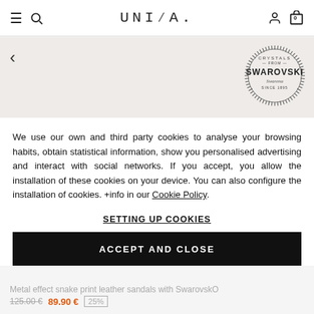UNISA header with hamburger menu, search, user and cart icons
[Figure (logo): Crystals from Swarovski circular badge/seal with text CRYSTALS FROM SWAROVSKI SINCE 1895]
We use our own and third party cookies to analyse your browsing habits, obtain statistical information, show you personalised advertising and interact with social networks. If you accept, you allow the installation of these cookies on your device. You can also configure the installation of cookies. +info in our Cookie Policy.
SETTING UP COOKIES
ACCEPT AND CLOSE
Metal effect snake print leather sandals with Swarovski
125.00 €  89.90 €  25%